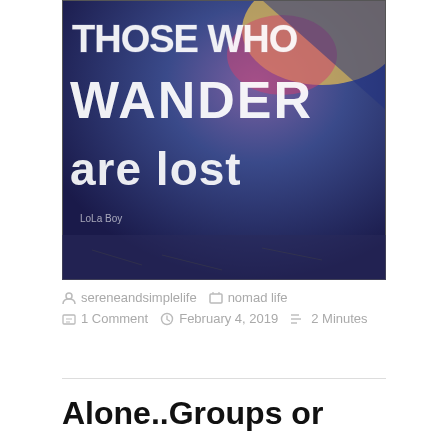[Figure (photo): Graffiti-style text on a dark blue/purple background reading 'THOSE WHO WANDER ARE LOST' in white hand-drawn lettering, with 'LoLa Boy' signature in bottom left. Instagram-filtered photograph.]
sereneandsimplelife   nomad life   1 Comment   February 4, 2019   2 Minutes
Alone..Groups or